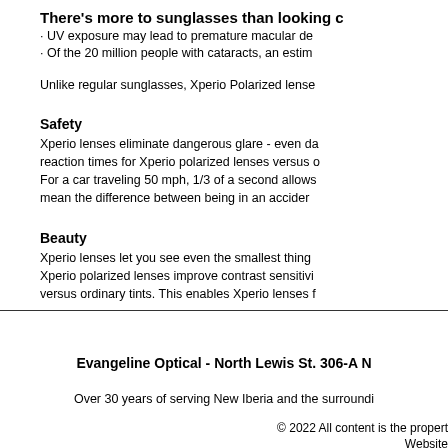There's more to sunglasses than looking c
· UV exposure may lead to premature macular de
· Of the 20 million people with cataracts, an estim
Unlike regular sunglasses, Xperio Polarized lense
Safety
Xperio lenses eliminate dangerous glare - even da reaction times for Xperio polarized lenses versus o For a car traveling 50 mph, 1/3 of a second allows mean the difference between being in an accider
Beauty
Xperio lenses let you see even the smallest thing Xperio polarized lenses improve contrast sensitivi versus ordinary tints. This enables Xperio lenses f
Evangeline Optical - North Lewis St. 306-A N
Over 30 years of serving New Iberia and the surroundi
© 2022 All content is the propert Website